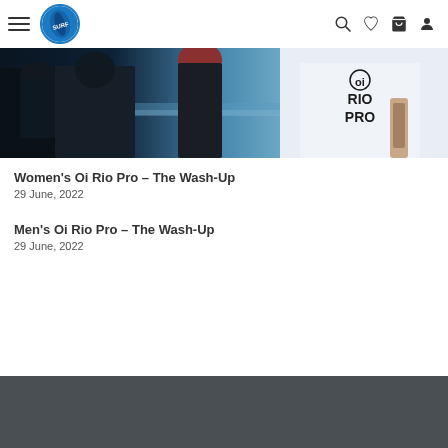Navigation bar with hamburger menu, logo, search, wishlist, cart, and account icons
[Figure (photo): Photo showing people at a beach/surf event wearing Rio Pro branded clothing, with ocean visible in background]
Women's Oi Rio Pro – The Wash-Up
29 June, 2022
Men's Oi Rio Pro – The Wash-Up
29 June, 2022